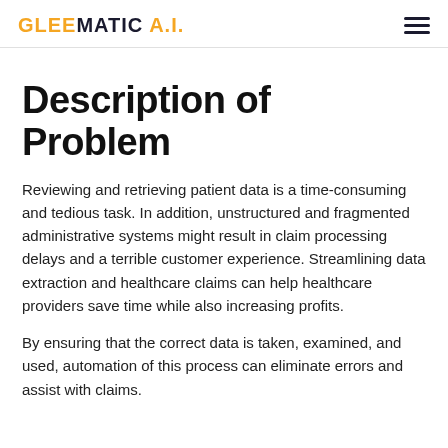GLEEMATIC A.I.
Description of Problem
Reviewing and retrieving patient data is a time-consuming and tedious task. In addition, unstructured and fragmented administrative systems might result in claim processing delays and a terrible customer experience. Streamlining data extraction and healthcare claims can help healthcare providers save time while also increasing profits.
By ensuring that the correct data is taken, examined, and used, automation of this process can eliminate errors and assist with claims.